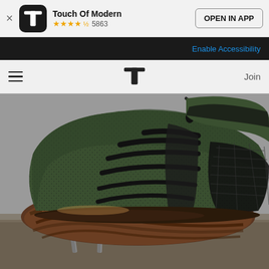Touch Of Modern ★★★★½ 5863 | OPEN IN APP
Enable Accessibility
≡  T  Join
[Figure (photo): Close-up photo of a green knit athletic/safety shoe with black lacing on top, raised on nails, showing its brown ridged rubber sole resistant to puncture. The shoe is a Touch Of Modern product being featured on the website.]